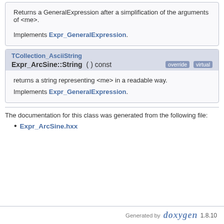Returns a GeneralExpression after a simplification of the arguments of <me>.
Implements Expr_GeneralExpression.
TCollection_AsciiString
Expr_ArcSine::String ( ) const override virtual
returns a string representing <me> in a readable way.
Implements Expr_GeneralExpression.
The documentation for this class was generated from the following file:
Expr_ArcSine.hxx
Generated by doxygen 1.8.10